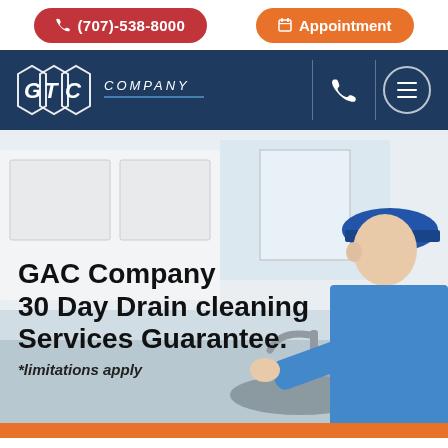(707)-538-8000
Appointment
[Figure (logo): GTC Company logo in white on dark navy background]
[Figure (photo): A plumber in a blue cap working at a kitchen sink, viewed from behind/side. Kitchen with white cabinets visible.]
GAC Company 30 Day Drain cleaning Services Guarantee.
*limitations apply